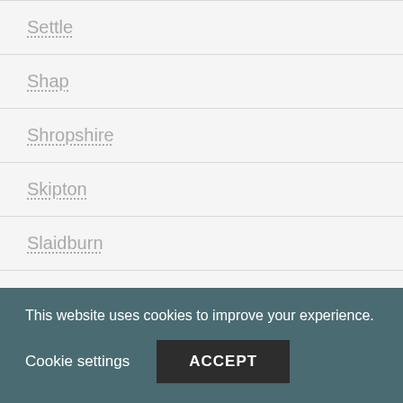Settle
Shap
Shropshire
Skipton
Slaidburn
Staveley
Styal
Tideswell
Todmorden
This website uses cookies to improve your experience.
Cookie settings
ACCEPT